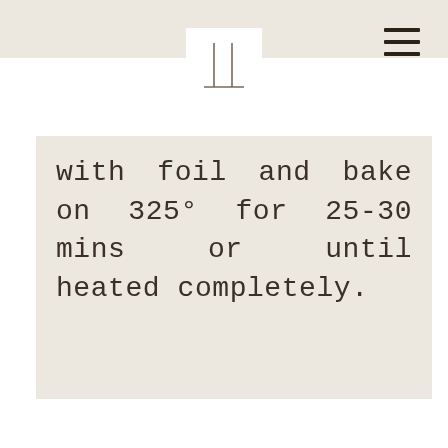[Figure (logo): Minimalist logo with two vertical lines and a horizontal baseline, resembling abstract letter TL or a tuning fork shape]
with foil and bake on 325° for 25-30 mins or until heated completely.